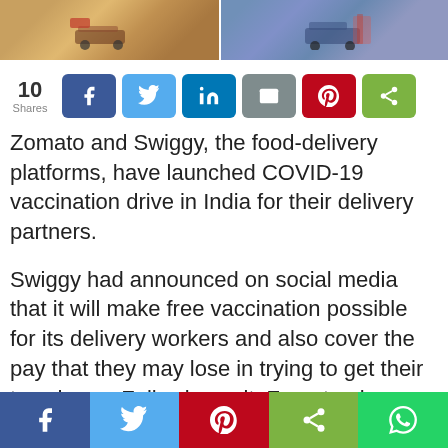[Figure (photo): Two-panel image showing delivery vehicles/scooters, left panel with warm tones, right panel with blue tones]
10 Shares — social share buttons: Facebook, Twitter, LinkedIn, Email, Pinterest, Share
Zomato and Swiggy, the food-delivery platforms, have launched COVID-19 vaccination drive in India for their delivery partners.
Swiggy had announced on social media that it will make free vaccination possible for its delivery workers and also cover the pay that they may lose in trying to get their two doses. Following suit, Zomato also
Bottom share bar: Facebook, Twitter, Pinterest, Share, WhatsApp